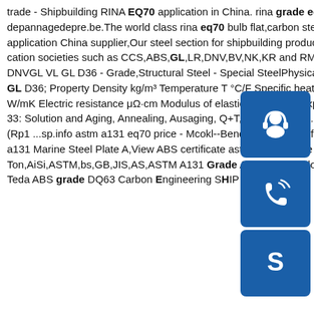trade - Shipbuilding RINA EQ70 application in China. rina grade eq70 offshore steel - depannagedepre.be.The world class rina eq70 bulb flat,carbon steel plate NK EQ70 steel application China supplier,Our steel section for shipbuilding products have been certified by classification societies such as CCS,ABS,GL,LR,DNV,BV,NK,KR and RMRS.Steel grade are A ...sp.info DNVGL VL GL D36 - Grade,Structural Steel - Special SteelPhysical properties of grade DNVGL VL GL D36; Property Density kg/m³ Temperature T °C/F Specific heat J / kgK Thermal conductivity W/mK Electric resistance μΩ·cm Modulus of elasticity kN/mm2 Expansion rate; 492 (≥) 191 (≥) ... 33: Solution and Aging, Annealing, Ausaging, Q+T,etc. 423: Temp. °C/°F Creep strain limit (10000h) (Rp1 ...sp.info astm a131 eq70 price - Mcokl--Bending | Folding of large ...ABS certificate astm a131 Marine Steel Plate A,View ABS certificate astm a131 Marine Steel Plate A,US $ 800 - 1000 / Ton,AiSi,ASTM,bs,GB,JIS,AS,ASTM A131 Grade A/B/D/E,Shandong,China.Source from Tianjin Teda ABS grade DQ63 Carbon Engineering SHIP STEEL
[Figure (infographic): Three blue square buttons with rounded corners on the right sidebar: headset/customer service icon, phone/call icon, Skype icon]